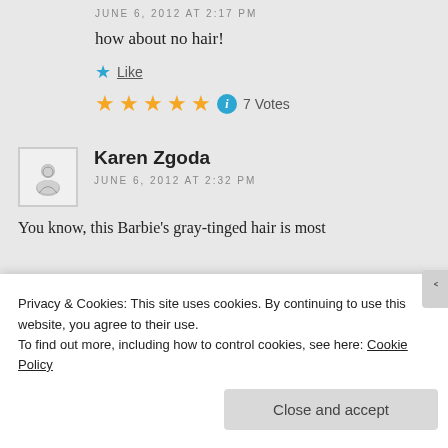JUNE 6, 2012 AT 2:17 PM
how about no hair!
Like
★★★★★  ⓘ 7 Votes
Karen Zgoda
JUNE 6, 2012 AT 2:32 PM
You know, this Barbie's gray-tinged hair is most
Privacy & Cookies: This site uses cookies. By continuing to use this website, you agree to their use.
To find out more, including how to control cookies, see here: Cookie Policy
Close and accept